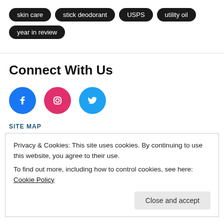skin care
stick deodorant
USPS
utility oil
year in review
Connect With Us
[Figure (infographic): Social media icons: Facebook (blue circle), Instagram (pink circle), Twitter (light blue circle)]
SITE MAP
Privacy & Cookies: This site uses cookies. By continuing to use this website, you agree to their use.
To find out more, including how to control cookies, see here: Cookie Policy
Close and accept